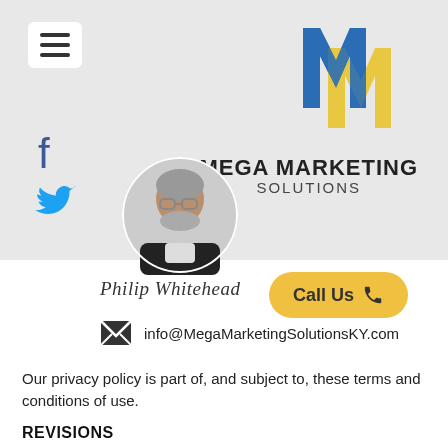[Figure (logo): Mega Marketing Solutions logo: MM letters in blue and yellow, with company name below]
[Figure (photo): Circular profile photo of a middle-aged man with glasses and a beard, wearing a dark jacket]
Philip Whitehead (signature)
Call Us
info@MegaMarketingSolutionsKY.com
Our privacy policy is part of, and subject to, these terms and conditions of use.
REVISIONS
We may revise these terms of use at any time by amending this page. You are expected to check this page from time to time and take notice of any changes, as they are binding on you. Some of the provisions contained in these terms of use may also be superseded by provisions or